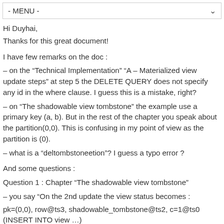- MENU -
Hi Duyhai,
Thanks for this great document!
I have few remarks on the doc :
– on the “Technical Implementation” “A – Materialized view update steps” at step 5 the DELETE QUERY does not specify any id in the where clause. I guess this is a mistake, right?
– on “The shadowable view tombstone” the example use a primary key (a, b). But in the rest of the chapter you speak about the partition(0,0). This is confusing in my point of view as the partition is (0).
– what is a “deltombstoneetion”? I guess a typo error ?
And some questions :
Question 1 : Chapter “The shadowable view tombstone”
– you say “On the 2nd update the view status becomes :
pk=(0,0), row@ts3, shadowable_tombstone@ts2, c=1@ts0 (INSERT INTO view …)